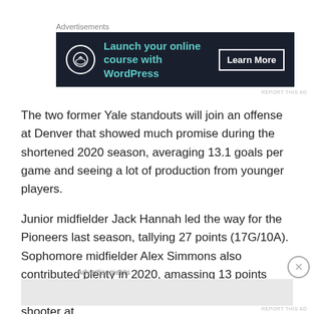Advertisements
[Figure (screenshot): Advertisement banner: dark navy background with bonsai tree icon, text 'Launch your online course with WordPress' in teal, and 'Learn More' button in white border]
The two former Yale standouts will join an offense at Denver that showed much promise during the shortened 2020 season, averaging 13.1 goals per game and seeing a lot of production from younger players.
Junior midfielder Jack Hannah led the way for the Pioneers last season, tallying 27 points (17G/10A). Sophomore midfielder Alex Simmons also contributed plenty in 2020, amassing 13 points (8G/5A). JJ Sillstropp emerged as a reliable shooter at
Advertisements